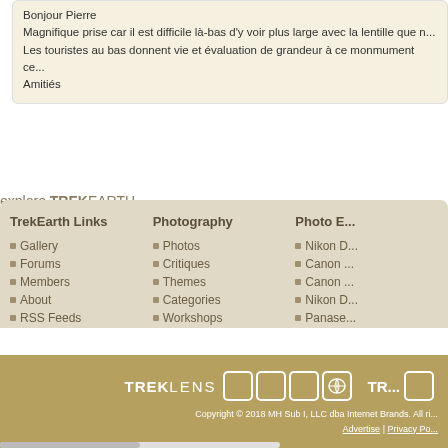Bonjour Pierre
Magnifique prise car il est difficile là-bas d'y voir plus large avec la lentille que n...
Les touristes au bas donnent vie et évaluation de grandeur à ce monmument ce...
Amitiés
explore TREKEARTH
TrekEarth Links: Gallery, Forums, Members, About, RSS Feeds
Photography: Photos, Critiques, Themes, Categories, Workshops
Photo E...: Nikon D..., Canon ..., Canon ..., Nikon D..., Panase...
TREKLENS | TR... | Copyright © 2018 MH Sub I, LLC dba Internet Brands. All ri... | Advertise | Privacy Po...